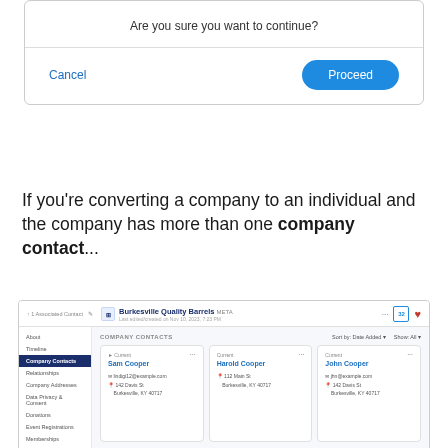[Figure (screenshot): Dialog box with 'Are you sure you want to continue?' message, Cancel link and Proceed blue button]
If you're converting a company to an individual and the company has more than one company contact...
[Figure (screenshot): CRM screenshot showing Burkesville Quality Barrels company page with Company Contacts tab open, showing three contact cards: Sam Cooper, Harold Cooper, John Cooper]
...a new Individual account will be created for each contact on the list that has a first and last name.
A company cannot be converted if their primary contact